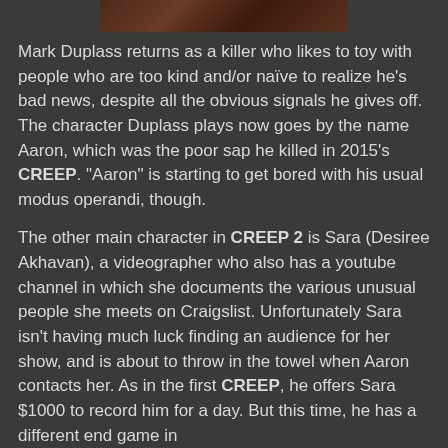[Figure (photo): Dark reddish-brown image at top of page, partially visible movie still]
Mark Duplass returns as a killer who likes to toy with people who are too kind and/or naïve to realize he's bad news, despite all the obvious signals he gives off.  The character Duplass plays now goes by the name Aaron, which was the poor sap he killed in 2015's CREEP. "Aaron" is starting to get bored with his usual modus operandi, though.
The other main character in CREEP 2 is Sara (Desiree Akhavan), a videographer who also has a youtube channel in which she documents the various unusual people she meets on Craigslist. Unfortunately Sara isn't having much luck finding an audience for her show, and is about to throw in the towel when Aaron contacts her. As in the first CREEP, he offers Sara $1000 to record him for a day. But this time, he has a different end game in